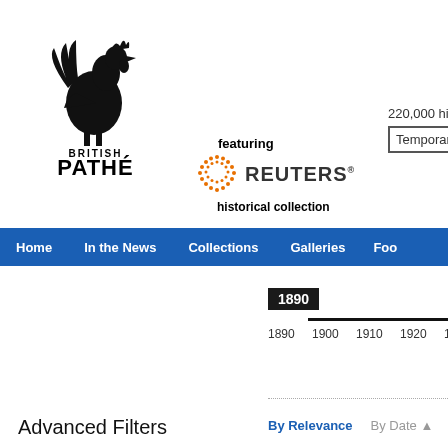[Figure (logo): British Pathé logo with rooster silhouette, 'BRITISH PATHÉ' text]
featuring
[Figure (logo): Reuters historical collection logo with orange dotted circle and REUTERS wordmark]
historical collection
220,000 historical clips
Temporary FIELD:record_
Home   In the News   Collections   Galleries   Foo
[Figure (other): Timeline slider showing 1890 with years 1890 1900 1910 1920 1930]
Advanced Filters
By Relevance   By Date ▲